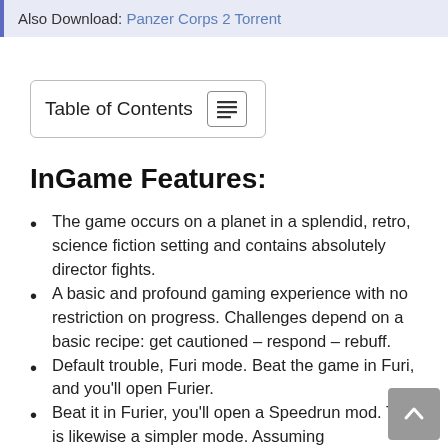Also Download: Panzer Corps 2 Torrent
Table of Contents
InGame Features:
The game occurs on a planet in a splendid, retro, science fiction setting and contains absolutely director fights.
A basic and profound gaming experience with no restriction on progress. Challenges depend on a basic recipe: get cautioned – respond – rebuff.
Default trouble, Furi mode. Beat the game in Furi, and you'll open Furier.
Beat it in Furier, you'll open a Speedrun mod. There is likewise a simpler mode. Assuming